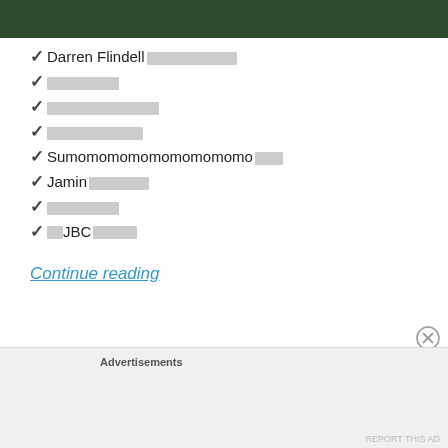[Figure (photo): Dark green background image at top of page]
✓ Darren Flindell [redacted]
✓ [redacted]
✓ [redacted]
✓ [redacted]
✓ Sumomomomomomomomomo [redacted]
✓ Jamin [redacted]
✓ [redacted]
✓ [redacted] JBC [redacted]
Continue reading
Advertisements